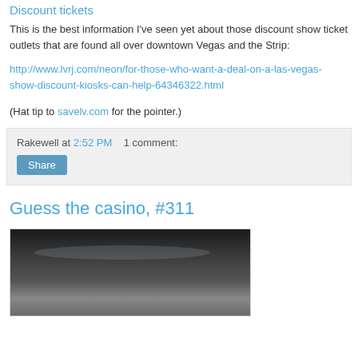Discount tickets
This is the best information I've seen yet about those discount show ticket outlets that are found all over downtown Vegas and the Strip:
http://www.lvrj.com/neon/for-those-who-want-a-deal-on-a-las-vegas-show-discount-kiosks-can-help-64346322.html
(Hat tip to savelv.com for the pointer.)
Rakewell at 2:52 PM    1 comment:
Share
Guess the casino, #311
[Figure (photo): Dark cropped photo of a curved object, likely a casino chip or table edge, dark tones with slight sheen]